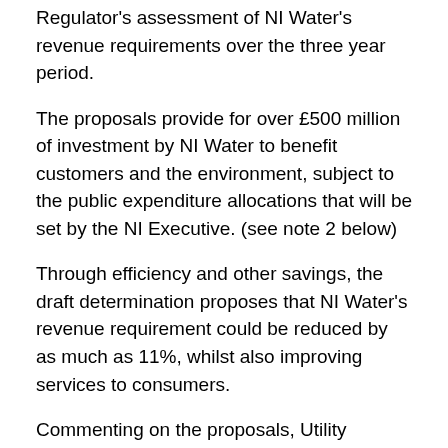Regulator's assessment of NI Water's revenue requirements over the three year period.
The proposals provide for over £500 million of investment by NI Water to benefit customers and the environment, subject to the public expenditure allocations that will be set by the NI Executive. (see note 2 below)
Through efficiency and other savings, the draft determination proposes that NI Water's revenue requirement could be reduced by as much as 11%, whilst also improving services to consumers.
Commenting on the proposals, Utility Regulator Chief Executive, Iain Osborne said:
“At the heart of our proposals is a determination that Northern Ireland consumers receive value for money